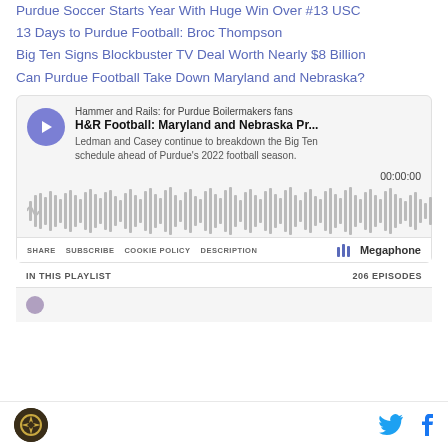Purdue Soccer Starts Year With Huge Win Over #13 USC
13 Days to Purdue Football: Broc Thompson
Big Ten Signs Blockbuster TV Deal Worth Nearly $8 Billion
Can Purdue Football Take Down Maryland and Nebraska?
[Figure (screenshot): Megaphone podcast embed player showing 'H&R Football: Maryland and Nebraska Pr...' episode from Hammer and Rails: for Purdue Boilermakers fans. Shows play button, episode description, waveform, timer 00:00:00, and controls for Share, Subscribe, Cookie Policy, Description, and Megaphone branding. Below shows 'IN THIS PLAYLIST' and '206 EPISODES'.]
Hammer and Rails logo, Twitter bird icon, Facebook f icon